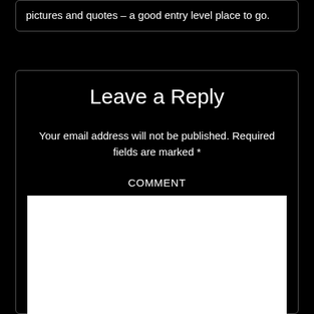pictures and quotes – a good entry level place to go.
Leave a Reply
Your email address will not be published. Required fields are marked *
COMMENT
[Figure (other): Empty white comment text area input box]